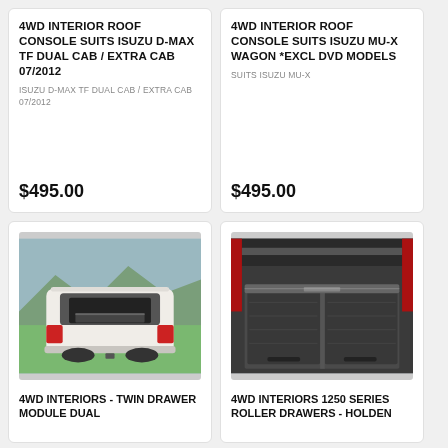4WD INTERIOR ROOF CONSOLE SUITS ISUZU D-MAX TF DUAL CAB / EXTRA CAB 07/2012
ISUZU D-MAX TF DUAL CAB / EXTRA CAB 07/2012
$495.00
4WD INTERIOR ROOF CONSOLE SUITS ISUZU MU-X WAGON *EXCL DVD MODELS
SUITS ISUZU MU-X
$495.00
[Figure (photo): Rear view of a white SUV with open boot showing twin drawer module on grass]
4WD INTERIORS - TWIN DRAWER MODULE DUAL
[Figure (photo): Rear view of a red/dark pickup truck with open tray showing 1250 Series Roller Drawers]
4WD INTERIORS 1250 SERIES ROLLER DRAWERS - HOLDEN